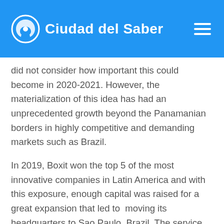Ciudad del Saber
did not consider how important this could become in 2020-2021. However, the materialization of this idea has had an unprecedented growth beyond the Panamanian borders in highly competitive and demanding markets such as Brazil.
In 2019, Boxit won the top 5 of the most innovative companies in Latin America and with this exposure, enough capital was raised for a great expansion that led to moving its headquarters to Sao Paulo, Brazil. The service has had capital rounds in excess of $4 million.
Ilan estimates that Boxit could be considered one of the most successful companies created in the